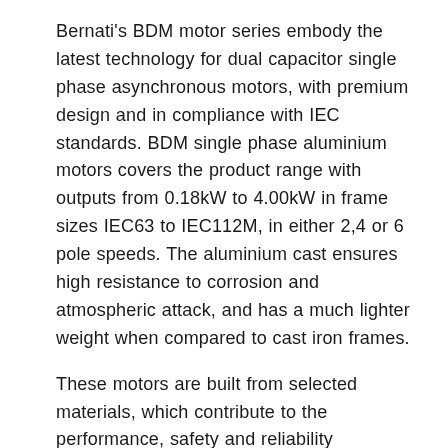Bernati's BDM motor series embody the latest technology for dual capacitor single phase asynchronous motors, with premium design and in compliance with IEC standards. BDM single phase aluminium motors covers the product range with outputs from 0.18kW to 4.00kW in frame sizes IEC63 to IEC112M, in either 2,4 or 6 pole speeds. The aluminium cast ensures high resistance to corrosion and atmospheric attack, and has a much lighter weight when compared to cast iron frames.
These motors are built from selected materials, which contribute to the performance, safety and reliability acknowledged to the BDM series. The BDM's starting torque can be up to 2.5 times higher than the corresponding torque of a standard single phase motor.
These series motors are suitable for the occasion where the requirements of big starting torque and high over load, such